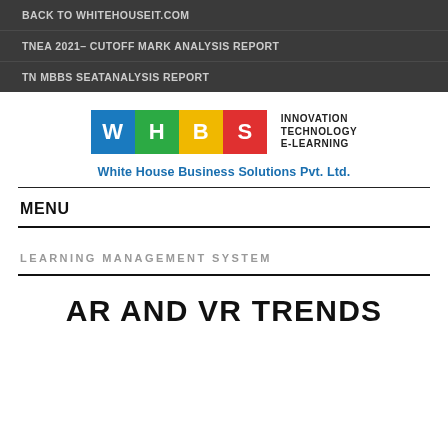BACK TO WHITEHOUSEIT.COM
TNEA 2021– CUTOFF MARK ANALYSIS REPORT
TN MBBS SEATANALYSIS REPORT
[Figure (logo): White House Business Solutions Pvt. Ltd. logo with four colored tiles W H B S and tagline INNOVATION TECHNOLOGY E-LEARNING]
White House Business Solutions Pvt. Ltd.
MENU
LEARNING MANAGEMENT SYSTEM
AR AND VR TRENDS